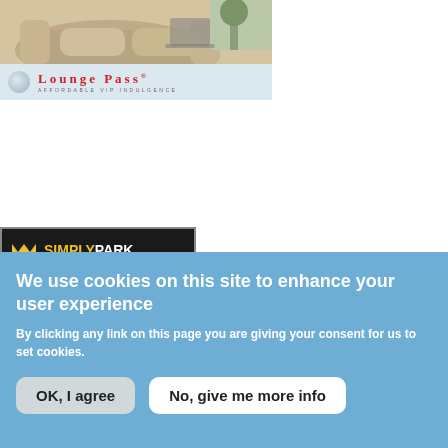[Figure (photo): Lounge Pass advertisement banner showing a beige/cream armchair with a laptop in the background, with the Lounge Pass logo and tagline 'Affordable VIP Indulgence']
[Figure (logo): Simply Park airport parking advertisement with dark header showing 'SIMPLYPARK' logo in white/yellow, 'Airport Parking' text on red background, and a grid of colorful icons including taxi, thumbs up, paper plane, P parking sign, and luggage]
We use cookies on this site to enhance your user experience
By clicking any link on this page you are giving your consent for us to set cookies.
OK, I agree
No, give me more info